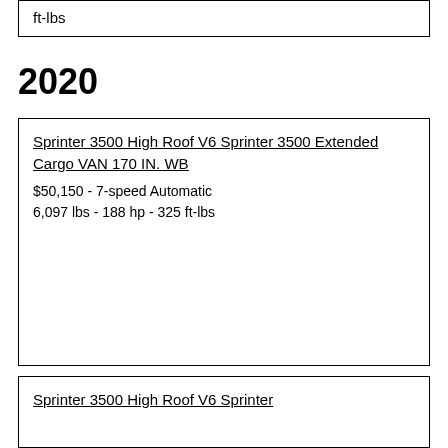ft-lbs
2020
Sprinter 3500 High Roof V6 Sprinter 3500 Extended Cargo VAN 170 IN. WB
$50,150 - 7-speed Automatic
6,097 lbs - 188 hp - 325 ft-lbs
Sprinter 3500 High Roof V6 Sprinter